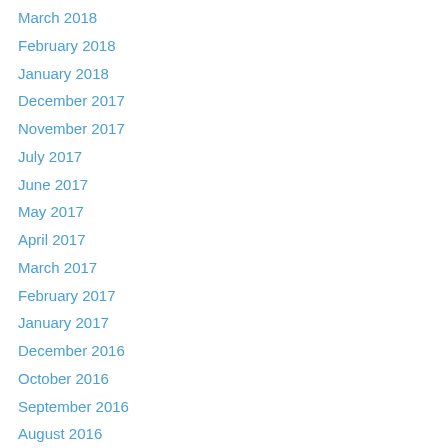March 2018
February 2018
January 2018
December 2017
November 2017
July 2017
June 2017
May 2017
April 2017
March 2017
February 2017
January 2017
December 2016
October 2016
September 2016
August 2016
July 2016
June 2016
May 2016
April 2016